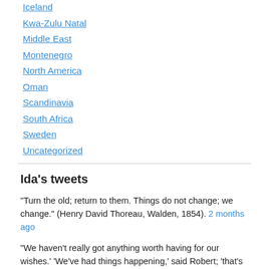Iceland
Kwa-Zulu Natal
Middle East
Montenegro
North America
Oman
Scandinavia
South Africa
Sweden
Uncategorized
Ida's tweets
"Turn the old; return to them. Things do not change; we change." (Henry David Thoreau, Walden, 1854). 2 months ago
“We haven't really got anything worth having for our wishes.' 'We've had things happening,' said Robert; 'that's al… twitter.com/i/web/status/1… 3 months ago